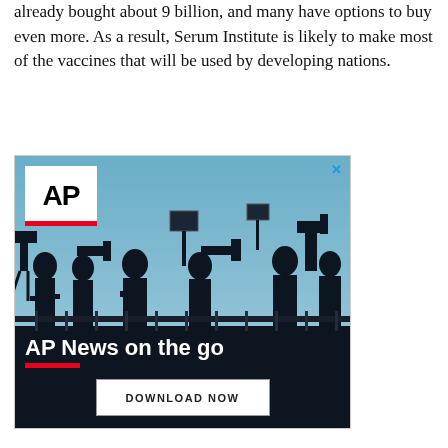already bought about 9 billion, and many have options to buy even more. As a result, Serum Institute is likely to make most of the vaccines that will be used by developing nations.
[Figure (photo): AP News advertisement showing silhouettes of journalists and camera operators against a blue sky, with AP logo in white box, red bar, headline 'AP News on the go', and a 'DOWNLOAD NOW' button.]